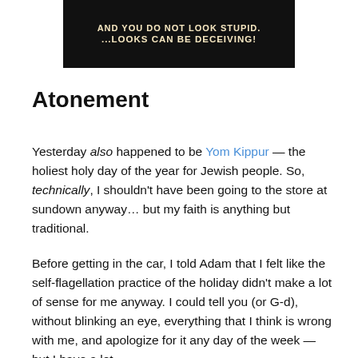[Figure (photo): An image with dark/black background showing text: 'AND YOU DO NOT LOOK STUPID... ...LOOKS CAN BE DECEIVING!' in uppercase bold letters on a light-colored surface]
Atonement
Yesterday also happened to be Yom Kippur — the holiest holy day of the year for Jewish people. So, technically, I shouldn't have been going to the store at sundown anyway… but my faith is anything but traditional.
Before getting in the car, I told Adam that I felt like the self-flagellation practice of the holiday didn't make a lot of sense for me anyway. I could tell you (or G-d), without blinking an eye, everything that I think is wrong with me, and apologize for it any day of the week — but I have a lot